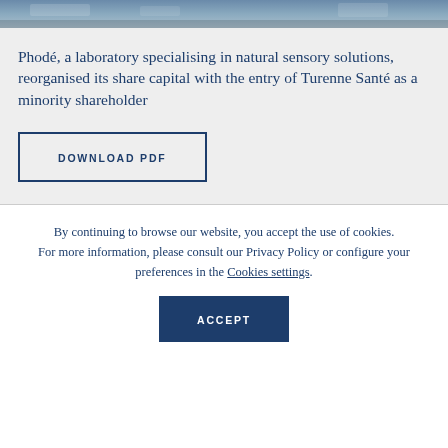[Figure (photo): Group photo of people outdoors, partially visible at top of page]
Phodé, a laboratory specialising in natural sensory solutions, reorganised its share capital with the entry of Turenne Santé as a minority shareholder
DOWNLOAD PDF
By continuing to browse our website, you accept the use of cookies. For more information, please consult our Privacy Policy or configure your preferences in the Cookies settings.
ACCEPT